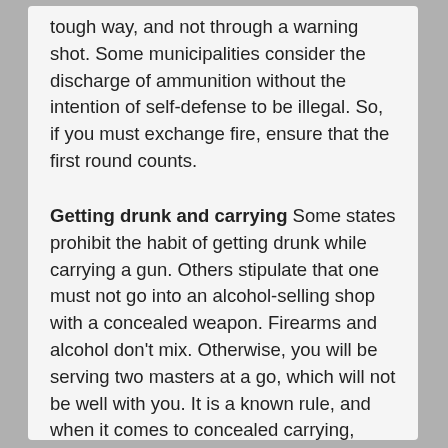tough way, and not through a warning shot. Some municipalities consider the discharge of ammunition without the intention of self-defense to be illegal. So, if you must exchange fire, ensure that the first round counts.
Getting drunk and carrying Some states prohibit the habit of getting drunk while carrying a gun. Others stipulate that one must not go into an alcohol-selling shop with a concealed weapon. Firearms and alcohol don't mix. Otherwise, you will be serving two masters at a go, which will not be well with you. It is a known rule, and when it comes to concealed carrying, never beating the classics is imperative.